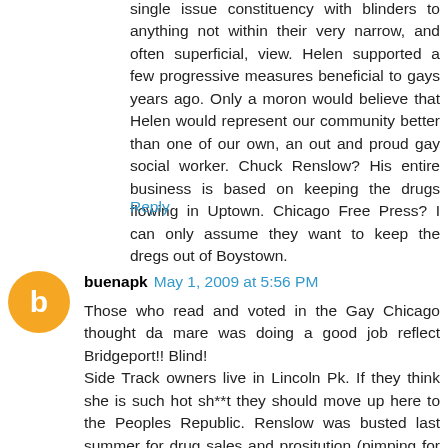single issue constituency with blinders to anything not within their very narrow, and often superficial, view. Helen supported a few progressive measures beneficial to gays years ago. Only a moron would believe that Helen would represent our community better than one of our own, an out and proud gay social worker. Chuck Renslow? His entire business is based on keeping the drugs flowing in Uptown. Chicago Free Press? I can only assume they want to keep the dregs out of Boystown.
Reply
buenapk May 1, 2009 at 5:56 PM
Those who read and voted in the Gay Chicago thought da mare was doing a good job reflect Bridgeport!! Blind!
Side Track owners live in Lincoln Pk. If they think she is such hot sh**t they should move up here to the Peoples Republic. Renslow was busted last summer for drug sales and prositution (pimping for under age boys) yet he is still heralded as a leader and HELLen's buddy. Could she be the connection that gets him -convicted felon- liquor